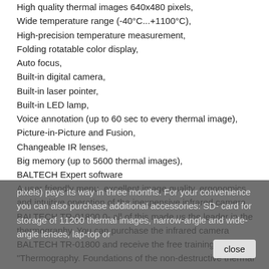High quality thermal images 640x480 pixels,
Wide temperature range (-40°C...+1100°C),
High-precision temperature measurement,
Folding rotatable color display,
Auto focus,
Built-in digital camera,
Built-in laser pointer,
Built-in LED lamp,
Voice annotation (up to 60 sec to every thermal image),
Picture-in-Picture and Fusion,
Changeable IR lenses,
Big memory (up to 5600 thermal images),
BALTECH Expert software
A user friendly menu, excellent image quality, ergonomics and intuitive operation of the inexpensive infrared camera BALTECH TR-01800 0- all of this made us the leader in the thermography. You can purchase the infrared camera BALTECH TR-01800 and receive the free training TOP-104 "Thermography. Foundations of the non-destructive thermal monitoring" at our training centre. Our service centre provides the lifetime maintenance for all the BALTECH systems and accessories. The software BALTECH Expert is updated every year for free! The inexpensive infrared camera BALTECH TR-01800 (640x480 pixels) pays its way in three months. For your convenience you can also purchase additional accessories: SD- card for storage of 11200 thermal images, narrow-angle and wide-angle lenses, lap-top or